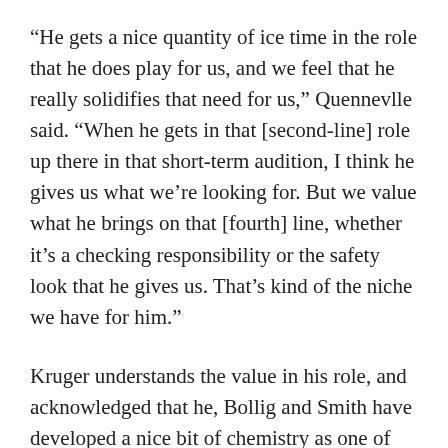“He gets a nice quantity of ice time in the role that he does play for us, and we feel that he really solidifies that need for us,” Quennevlle said. “When he gets in that [second-line] role up there in that short-term audition, I think he gives us what we’re looking for. But we value what he brings on that [fourth] line, whether it’s a checking responsibility or the safety look that he gives us. That’s kind of the niche we have for him.”
Kruger understands the value in his role, and acknowledged that he, Bollig and Smith have developed a nice bit of chemistry as one of just two consistent lines on the team. And while, like any player, he’d love to play in a high-profile role and play 20 minutes a night, he knows only one thing matters: The Hawks lost on